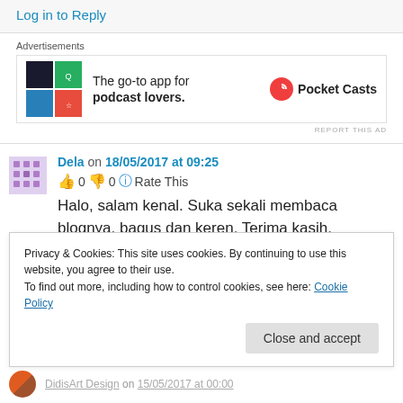Log in to Reply
[Figure (infographic): Pocket Casts advertisement banner: colorful app icon tiles on the left, text 'The go-to app for podcast lovers.' in the center, Pocket Casts logo on the right. Label 'Advertisements' above. 'REPORT THIS AD' text below.]
Dela on 18/05/2017 at 09:25
👍 0 👎 0 ℹ Rate This
Halo, salam kenal. Suka sekali membaca blognya, bagus dan keren. Terima kasih.
Privacy & Cookies: This site uses cookies. By continuing to use this website, you agree to their use.
To find out more, including how to control cookies, see here: Cookie Policy
Close and accept
DidisArt Design on 15/05/2017 at 00:00